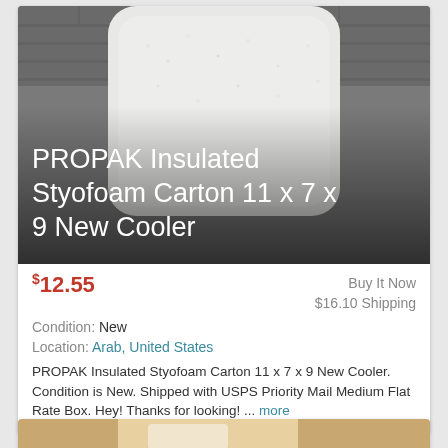[Figure (photo): Close-up photo of a white PROPAK insulated styrofoam carton/cooler against a brick background. White text overlay reads: PROPAK Insulated Styofoam Carton 11 x 7 x 9 New Cooler]
$12.55
Buy It Now
$16.10 Shipping
Condition: New
Location: Arab, United States
PROPAK Insulated Styofoam Carton 11 x 7 x 9 New Cooler. Condition is New. Shipped with USPS Priority Mail Medium Flat Rate Box. Hey! Thanks for looking! ... more
[Figure (photo): Partial view of a second product listing image, partially visible at the bottom of the page]